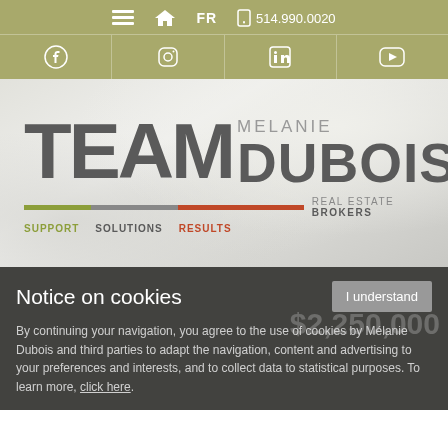≡ 🏠 FR 📱 514.990.0020 | Facebook Instagram LinkedIn YouTube
[Figure (logo): Team Melanie Dubois Real Estate Brokers logo with tagline SUPPORT SOLUTIONS RESULTS and colored bars]
Notice on cookies
By continuing your navigation, you agree to the use of cookies by Mélanie Dubois and third parties to adapt the navigation, content and advertising to your preferences and interests, and to collect data to statistical purposes. To learn more, click here.